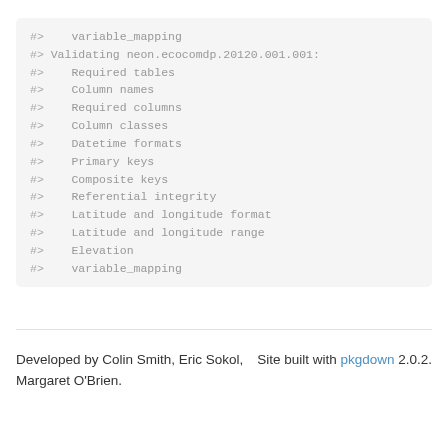#>    variable_mapping
#> Validating neon.ecocomdp.20120.001.001:
#>    Required tables
#>    Column names
#>    Required columns
#>    Column classes
#>    Datetime formats
#>    Primary keys
#>    Composite keys
#>    Referential integrity
#>    Latitude and longitude format
#>    Latitude and longitude range
#>    Elevation
#>    variable_mapping
Developed by Colin Smith, Eric Sokol, Margaret O'Brien.    Site built with pkgdown 2.0.2.